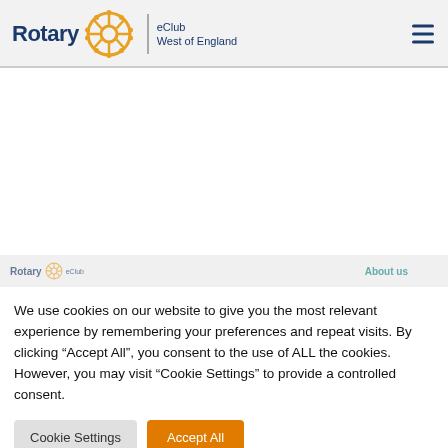Rotary eClub West of England
[Figure (logo): Rotary eClub West of England logo with Rotary wheel emblem, text 'Rotary' in dark blue, divider, and 'eClub West of England' in dark blue]
We use cookies on our website to give you the most relevant experience by remembering your preferences and repeat visits. By clicking “Accept All”, you consent to the use of ALL the cookies. However, you may visit "Cookie Settings" to provide a controlled consent.
Cookie Settings | Accept All